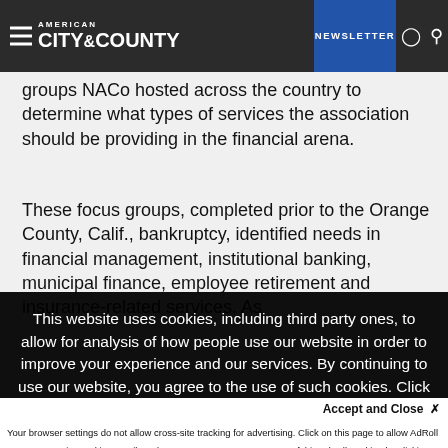AMERICAN CITY & COUNTY | NEWSLETTER
groups NACo hosted across the country to determine what types of services the association should be providing in the financial arena.
These focus groups, completed prior to the Orange County, Calif., bankruptcy, identified needs in financial management, institutional banking, municipal finance, employee retirement and insurance-related services. As
This website uses cookies, including third party ones, to allow for analysis of how people use our website in order to improve your experience and our services. By continuing to use our website, you agree to the use of such cookies. Click here for more information on our Cookie Policy and Privacy Policy
Accept and Close ✕
Your browser settings do not allow cross-site tracking for advertising. Click on this page to allow AdRoll to use cross-site tracking to tailor ads to you. Learn more or opt out of this AdRoll tracking by clicking here. This message only appears once.